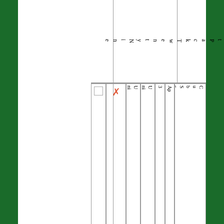|  |  | Uniform Inspection Sheet-Cubs-Revised forPack29. | Uniform Inspection Sheet-Cubs | 3.4.2k | Apr.1 | Cub Scout Pack Twenty Nine |
| --- | --- | --- | --- | --- | --- | --- |